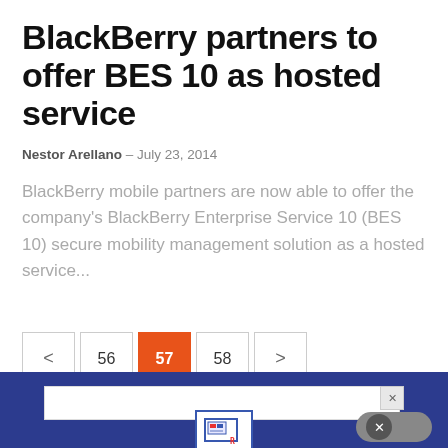BlackBerry partners to offer BES 10 as hosted service
Nestor Arellano – July 23, 2014
BlackBerry mobile partners are now able to offer the company's BlackBerry Enterprise Service 10 (BES 10) secure mobility management solution as a hosted service...
[Figure (screenshot): Pagination controls showing previous arrow, page 56, page 57 (active/highlighted in orange), page 58, and next arrow]
[Figure (screenshot): Advertisement banner at bottom with blue background, white ad area with close X button, small icon graphic, and a close/dismiss button on the right]